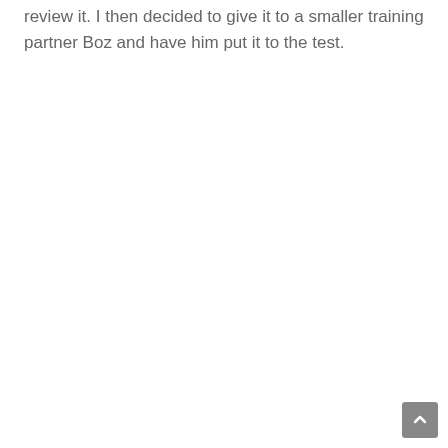review it. I then decided to give it to a smaller training partner Boz and have him put it to the test.